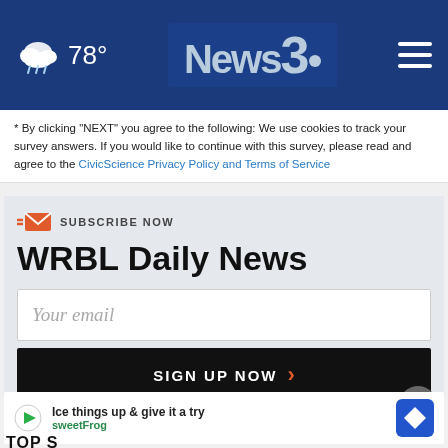78° News3 (WRBL News 3 Columbus Georgia)
* By clicking "NEXT" you agree to the following: We use cookies to track your survey answers. If you would like to continue with this survey, please read and agree to the CivicScience Privacy Policy and Terms of Service
WRBL Daily News
SUBSCRIBE NOW
Your email
SIGN UP NOW >
[Figure (infographic): Advertisement banner: Ice things up & give it a try — sweetFrog, with sweetFrog logo and navigation icon]
TOP S...